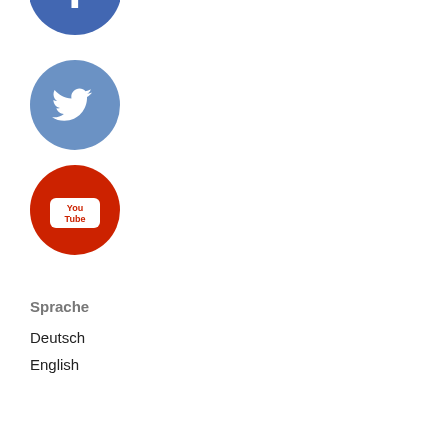[Figure (logo): Facebook circular logo icon, partially cropped at top, blue circle with white 'f' letter]
[Figure (logo): Twitter circular logo icon, steel-blue circle with white bird/Twitter logo]
[Figure (logo): YouTube circular logo icon, red circle with white 'You Tube' text in a rectangle]
Sprache
Deutsch
English